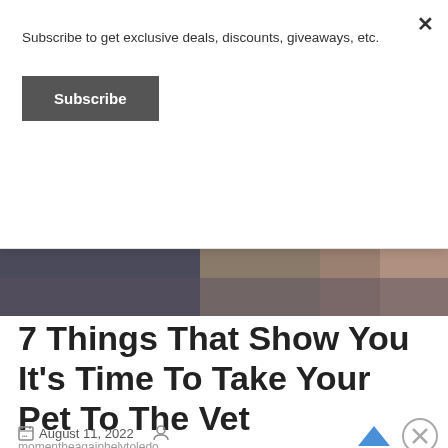Subscribe to get exclusive deals, discounts, giveaways, etc.
Subscribe
[Figure (photo): Partial photo of people, cropped at top of article]
7 Things That Show You It's Time To Take Your Pet To The Vet
August 11, 2022
momentheagainhelytoledo
Advertisements
[Figure (photo): Advertisement banner: KISS BORING LIPS GOODBYE — SHOP NOW macys]